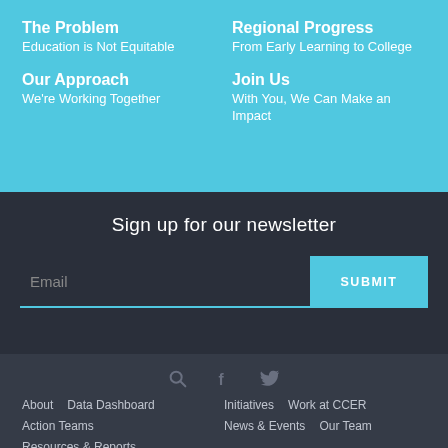The Problem
Education is Not Equitable
Our Approach
We're Working Together
Regional Progress
From Early Learning to College
Join Us
With You, We Can Make an Impact
Sign up for our newsletter
Email
SUBMIT
[Figure (infographic): Social icons: search (magnifier), Facebook (f), Twitter (bird)]
About   Data Dashboard   Initiatives   Work at CCER
Action Teams   News & Events   Our Team
Resources & Reports